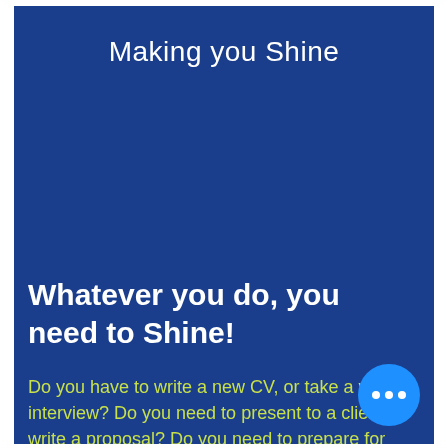Making you Shine
Whatever you do, you need to Shine!
Do you have to write a new CV, or take a video interview? Do you need to present to a client or write a proposal? Do you need to prepare for